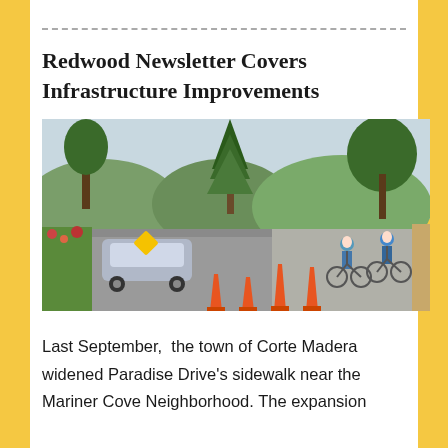Redwood Newsletter Covers Infrastructure Improvements
[Figure (photo): Street-level photo showing Paradise Drive with orange construction cones separating car traffic from cyclists on a widened sidewalk/bike lane. Trees and residential buildings visible in background. A car is visible on the left side of the road.]
Last September,  the town of Corte Madera widened Paradise Drive's sidewalk near the Mariner Cove Neighborhood. The expansion